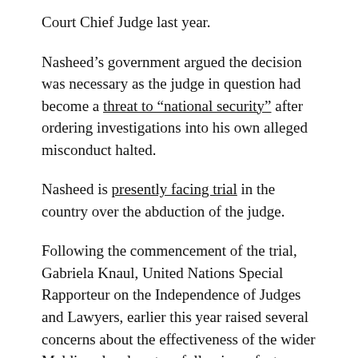Court Chief Judge last year.
Nasheed’s government argued the decision was necessary as the judge in question had become a threat to “national security” after ordering investigations into his own alleged misconduct halted.
Nasheed is presently facing trial in the country over the abduction of the judge.
Following the commencement of the trial, Gabriela Knaul, United Nations Special Rapporteur on the Independence of Judges and Lawyers, earlier this year raised several concerns about the effectiveness of the wider Maldives legal system following a fact-finding mission.
Knaul stated back in February that upon conclusion